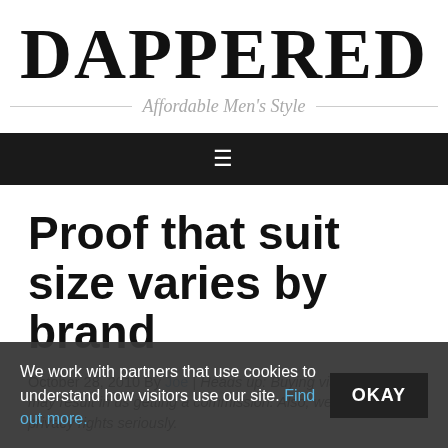DAPPERED
Affordable Men's Style
[Figure (other): Navigation bar with hamburger menu icon]
Proof that suit size varies by brand
October 28, 2010 By Joe | Heads up: Buying via our links may result in us getting a commission. Also, we take your privacy rights seriously.
We work with partners that use cookies to understand how visitors use our site. Find out more.